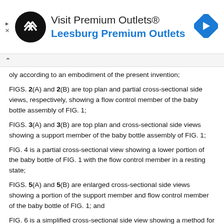[Figure (advertisement): Advertisement banner for Visit Premium Outlets® Leesburg Premium Outlets with black circular logo and blue navigation arrow diamond icon]
oly according to an embodiment of the present invention;
FIGS. 2(A) and 2(B) are top plan and partial cross-sectional side views, respectively, showing a flow control member of the baby bottle assembly of FIG. 1;
FIGS. 3(A) and 3(B) are top plan and cross-sectional side views showing a support member of the baby bottle assembly of FIG. 1;
FIG. 4 is a partial cross-sectional view showing a lower portion of the baby bottle of FIG. 1 with the flow control member in a resting state;
FIGS. 5(A) and 5(B) are enlarged cross-sectional side views showing a portion of the support member and flow control member of the baby bottle of FIG. 1; and
FIG. 6 is a simplified cross-sectional side view showing a method for inserting liquid into the baby bottle of FIG. 1 through the flow control member according to another embodiment of the present invention; and
FIG. 7 is an enlarged cross-sectional side view showing a portion of the